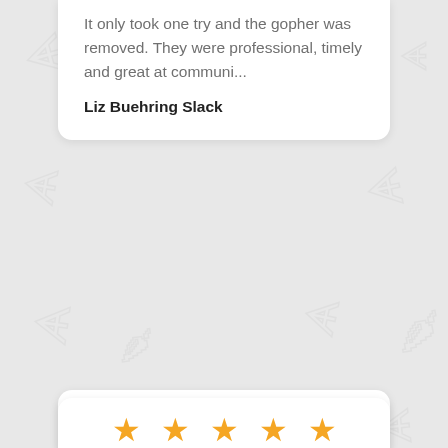It only took one try and the gopher was removed. They were professional, timely and great at communi...
Liz Buehring Slack
[Figure (other): Five orange star rating icons in a row]
The gentleman that came to the house was prompt, professional and extremely thorough. I would highly...
David Cohen
[Figure (other): Five orange star rating icons in a row (partial, bottom of page)]